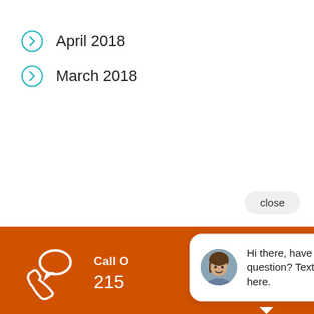April 2018
March 2018
[Figure (infographic): Orange banner with map/location book icon, text 'Find Our Office On Google Maps' and 'Google Maps Link', with a 'close' button]
[Figure (infographic): Dark orange banner with phone/chat icon, partial text 'Call O' and '215', overlaid by a chat bubble popup with avatar photo and text 'Hi there, have a question? Text us here.']
[Figure (infographic): Orange banner with document/edit icon, text 'Schedule Service For You' and 'Contact Us Now', with a blue circular chat button in lower right]